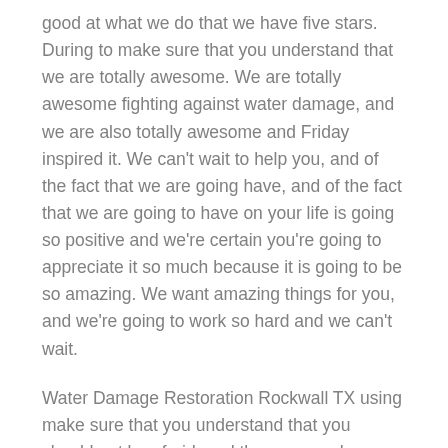good at what we do that we have five stars. During to make sure that you understand that we are totally awesome. We are totally awesome fighting against water damage, and we are also totally awesome and Friday inspired it. We can't wait to help you, and of the fact that we are going have, and of the fact that we are going to have on your life is going so positive and we're certain you're going to appreciate it so much because it is going to be so amazing. We want amazing things for you, and we're going to work so hard and we can't wait.
Water Damage Restoration Rockwall TX using make sure that you understand that you should not be afraid, and the reason why you should not be afraid is because we are going to get such great results for you. We know that we are going to get great results for you, and we are very certain that we are going to get spectacular results, and the reason why is